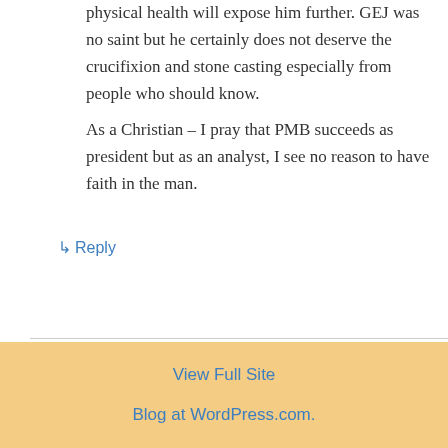physical health will expose him further. GEJ was no saint but he certainly does not deserve the crucifixion and stone casting especially from people who should know. As a Christian – I pray that PMB succeeds as president but as an analyst, I see no reason to have faith in the man.
↳ Reply
View Full Site
Blog at WordPress.com.